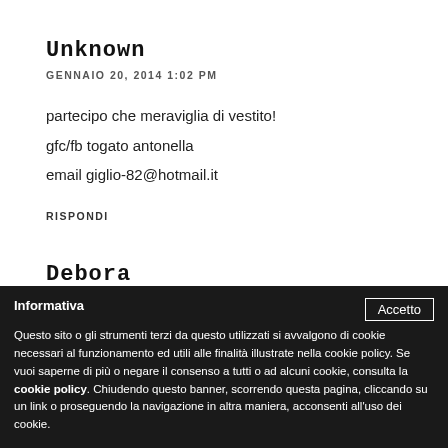Unknown
GENNAIO 20, 2014 1:02 PM
partecipo che meraviglia di vestito!
gfc/fb togato antonella
email giglio-82@hotmail.it
RISPONDI
Debora
Informativa
Questo sito o gli strumenti terzi da questo utilizzati si avvalgono di cookie necessari al funzionamento ed utili alle finalità illustrate nella cookie policy. Se vuoi saperne di più o negare il consenso a tutti o ad alcuni cookie, consulta la cookie policy.
Chiudendo questo banner, scorrendo questa pagina, cliccando su un link o proseguendo la navigazione in altra maniera, acconsenti all'uso dei cookie.